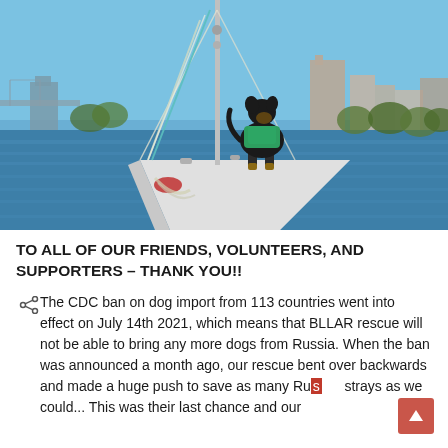[Figure (photo): A black and tan dog wearing a green life vest stands on the bow of a white sailboat, looking out over a wide river or harbor. City skyline with buildings and trees visible in the background under a clear blue sky.]
TO ALL OF OUR FRIENDS, VOLUNTEERS, AND SUPPORTERS – THANK YOU!!
The CDC ban on dog import from 113 countries went into effect on July 14th 2021, which means that BLLAR rescue will not be able to bring any more dogs from Russia. When the ban was announced a month ago, our rescue bent over backwards and made a huge push to save as many Russian strays as we could... This was their last chance and our hearts broke for so many dogs left behind. The number of